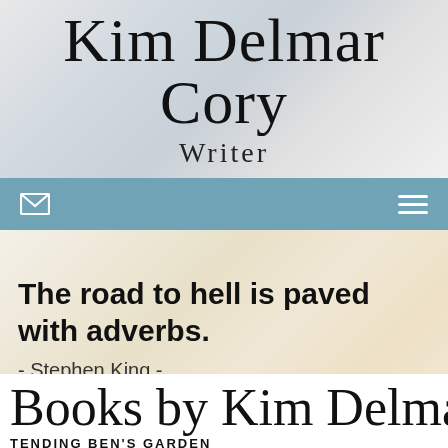Kim Delmar Cory
Writer
[Figure (screenshot): Navigation bar with email envelope icon on the left and hamburger menu icon on the right, steel blue background]
The road to hell is paved with adverbs.
- Stephen King -
Books by Kim Delmar Cory
TENDING BEN'S GARDEN